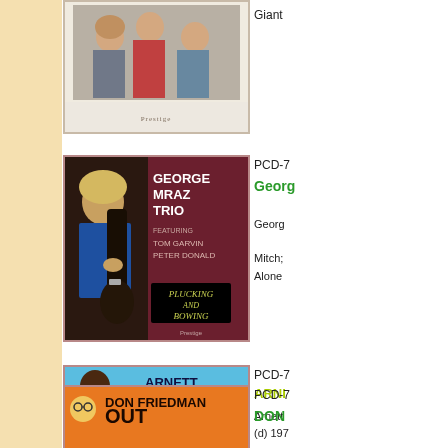[Figure (photo): Partial album cover at top of page, cut off, showing group photo with label logo at bottom]
Giant
[Figure (photo): George Mraz Trio album cover 'Plucking and Bowing' featuring Tom Garvin, Peter Donald - shows musician playing bass]
PCD-7
George
Georg
Mitch; Alone
[Figure (photo): Arnett Cobb 'Is Back' album cover on blue background showing saxophonist playing]
PCD-7
ARNETT COBB
Arnett (d) 197
Flying (i Don'
[Figure (photo): Don Friedman album cover with orange/yellow background, partially visible at bottom]
PCD-7
DON